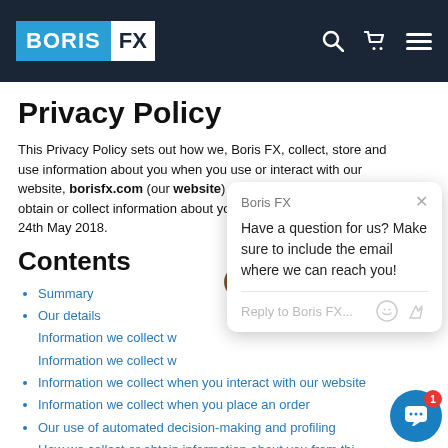Boris FX — navigation bar with logo, search, cart, and menu icons
Privacy Policy
This Privacy Policy sets out how we, Boris FX, collect, store and use information about you when you use or interact with our website, borisfx.com (our website) and where we otherwise obtain or collect information about you. This policy is effective from 24th May 2018.
Contents
Summary
Our details
Information we collect w…
Information we collect w…
Information we collect when you interact with our website
Information we collect when you place an order
Our use of automated decision-making and profiling
How we collect or obtain information about you from thi…
Disclosure and additional uses of your information
How long we retain your information